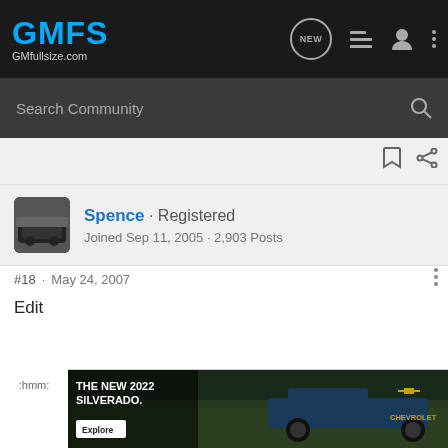GMFS GMfullsize.com
Search Community
Spence · Registered
Joined Sep 11, 2005 · 2,903 Posts
#18 · May 24, 2007
Edit
[Figure (photo): Advertisement banner for The New 2022 Silverado by Chevrolet with Explore button]
:hmm: